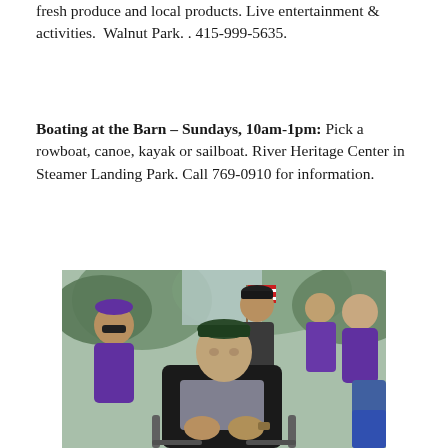fresh produce and local products. Live entertainment & activities.  Walnut Park. . 415-999-5635.
Boating at the Barn – Sundays, 10am-1pm: Pick a rowboat, canoe, kayak or sailboat. River Heritage Center in Steamer Landing Park. Call 769-0910 for information.
[Figure (photo): A group of veterans gathered outdoors. An elderly veteran in a wheelchair wearing a military cap is in the foreground. Behind him stand men in military uniforms and purple shirts, with an American flag visible in the background among trees.]